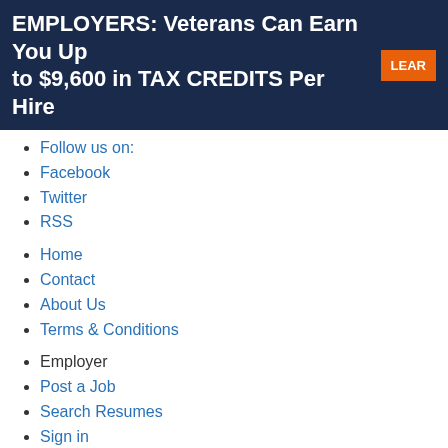[Figure (infographic): Dark navy banner advertisement: 'EMPLOYERS: Veterans Can Earn You Up to $9,600 in TAX CREDITS Per Hire' with an orange 'LEARN' button on the right.]
Follow us on:
Facebook
Twitter
RSS
Home
Contact
About Us
Terms & Conditions
Employer
Post a Job
Search Resumes
Sign in
Job Seeker
Find Jobs on Hire Veterans
Create Resume
Sign in
© 2003-2022 Powered by VA Claims Insider, LLC